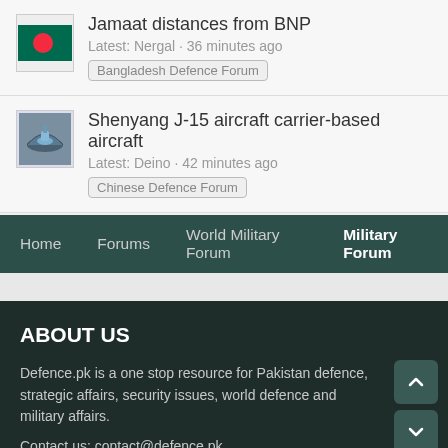Jamaat distances from BNP
Latest: Nergal · 36 minutes ago
Bangladesh Defence Forum
Shenyang J-15 aircraft carrier-based aircraft
Latest: Deino · 42 minutes ago
Chinese Defence Forum
Home  Forums  World Military Forum  Military Forum
ABOUT US
Defence.pk is a one stop resource for Pakistan defence, strategic affairs, security issues, world defence and military affairs.
Contact us: contact@defence.pk